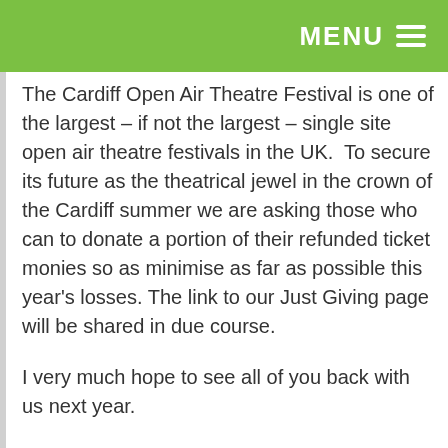MENU
The Cardiff Open Air Theatre Festival is one of the largest – if not the largest – single site open air theatre festivals in the UK.  To secure its future as the theatrical jewel in the crown of the Cardiff summer we are asking those who can to donate a portion of their refunded ticket monies so as minimise as far as possible this year's losses. The link to our Just Giving page will be shared in due course.
I very much hope to see all of you back with us next year.
Very best wishes to you all,
Peter Harding-Roberts